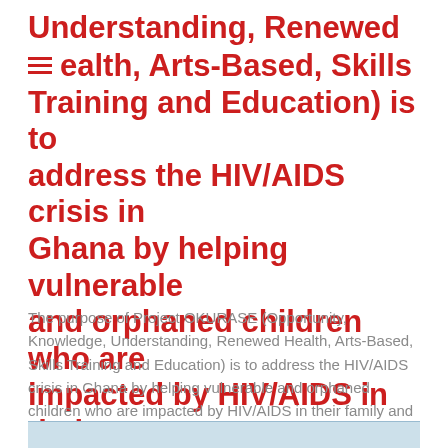Understanding, Renewed Health, Arts-Based, Skills Training and Education) is to address the HIV/AIDS crisis in Ghana by helping vulnerable and orphaned children who are impacted by HIV/AIDS in their family and their village.
The purpose of Project OKURASE (Opportunity, Knowledge, Understanding, Renewed Health, Arts-Based, Skills Training and Education) is to address the HIV/AIDS crisis in Ghana by helping vulnerable and orphaned children who are impacted by HIV/AIDS in their family and their village.
[Figure (other): Partial view of a document or table at the bottom of the page, mostly cut off]